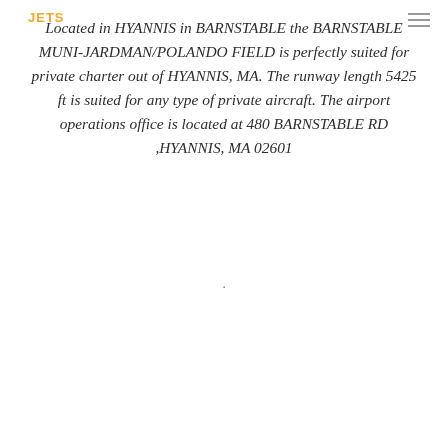Located in HYANNIS in BARNSTABLE the BARNSTABLE MUNI-JARDMAN/POLANDO FIELD is perfectly suited for private charter out of HYANNIS, MA. The runway length 5425 ft is suited for any type of private aircraft. The airport operations office is located at 480 BARNSTABLE RD ,HYANNIS, MA 02601
.